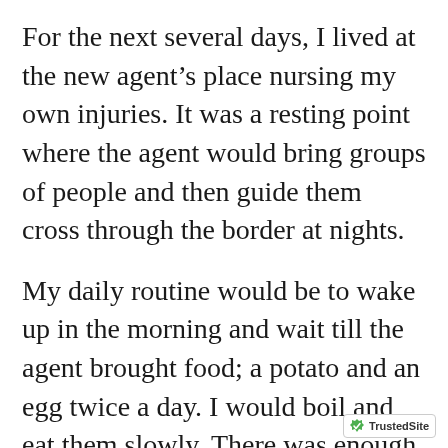For the next several days, I lived at the new agent's place nursing my own injuries. It was a resting point where the agent would bring groups of people and then guide them cross through the border at nights.
My daily routine would be to wake up in the morning and wait till the agent brought food; a potato and an egg twice a day. I would boil and eat them slowly. There was enough tea for me to last for many days.
One morning, I woke up with the sound of a woman herding the cattle. I looked outside and saw this very old woman standing near the door.
[Figure (logo): TrustedSite badge with green checkmark shield icon and text 'TrustedSite']